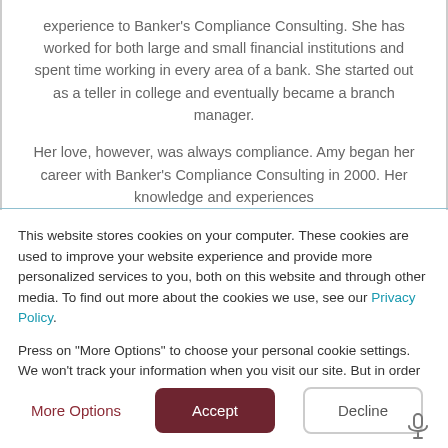experience to Banker's Compliance Consulting. She has worked for both large and small financial institutions and spent time working in every area of a bank. She started out as a teller in college and eventually became a branch manager.

Her love, however, was always compliance. Amy began her career with Banker's Compliance Consulting in 2000. Her knowledge and experiences
This website stores cookies on your computer. These cookies are used to improve your website experience and provide more personalized services to you, both on this website and through other media. To find out more about the cookies we use, see our Privacy Policy.

Press on "More Options" to choose your personal cookie settings. We won't track your information when you visit our site. But in order to comply with your preferences, we'll have to use just one tiny cookie so that you're not asked to make this choice again.
More Options | Accept | Decline